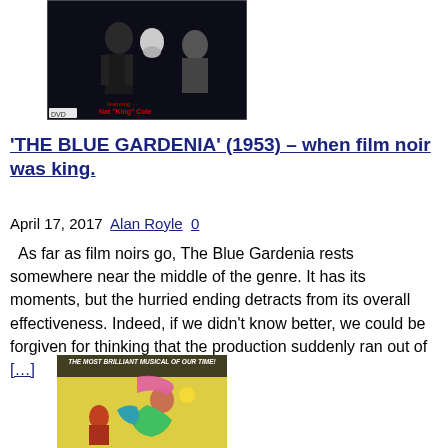[Figure (photo): Black and white DVD cover image for 'The Blue Gardenia' (1953) featuring Nat 'King' Cole, showing a man and woman in a close romantic pose with a third figure visible]
'THE BLUE GARDENIA' (1953) – when film noir was king.
April 17, 2017 Alan Royle 0
As far as film noirs go, The Blue Gardenia rests somewhere near the middle of the genre. It has its moments, but the hurried ending detracts from its overall effectiveness. Indeed, if we didn't know better, we could be forgiven for thinking that the production suddenly ran out of [...]
[Figure (photo): Colorful vintage movie poster reading 'THE MOST BRILLIANT MUSICAL OF OUR TIME!' with illustrated figures in bright yellow, green, and pink colors]